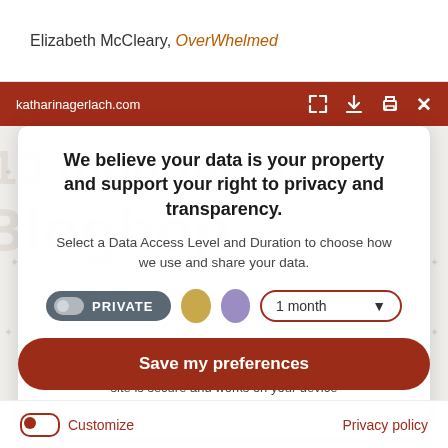Elizabeth McCleary, OverWhelmed
katharinagerlach.com
We believe your data is your property and support your right to privacy and transparency.
Select a Data Access Level and Duration to choose how we use and share your data.
PRIVATE  [toggle]  [yellow dot]  [purple dot]  1 month ▾
Highest level of privacy. Data accessed for necessary basic operations only. Data shared with 3rd parties to ensure the site is secure and works on your device
Save my preferences
Customize
Privacy policy